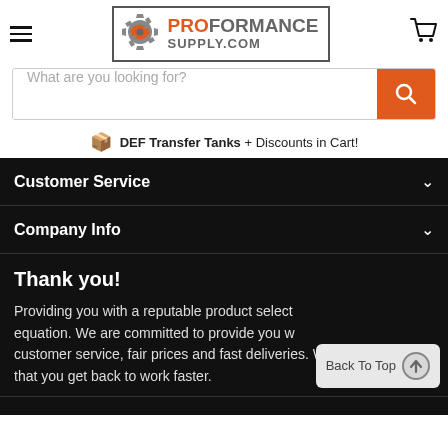[Figure (logo): ProFormance Supply.com logo with gear/flame icon and orange/gray text]
What are you looking for?
DEF Transfer Tanks + Discounts in Cart!
Customer Service
Company Info
Thank you!
Providing you with a reputable product selection is only half of the equation. We are committed to provide you with the premier customer service, fair prices and fast deliveries. We work hard so that you get back to work faster.